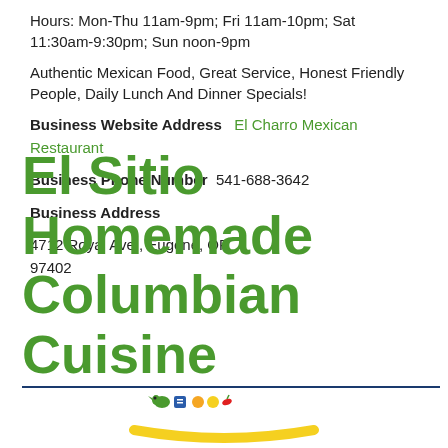Hours: Mon-Thu 11am-9pm; Fri 11am-10pm; Sat 11:30am-9:30pm; Sun noon-9pm
Authentic Mexican Food, Great Service, Honest Friendly People, Daily Lunch And Dinner Specials!
Business Website Address  El Charro Mexican Restaurant
Business Phone Number  541-688-3642
Business Address
4712 Royal Ave., Eugene, OR 97402
El Sitio Homemade Columbian Cuisine
[Figure (logo): El Sitio logo with colorful food icons and yellow circular emblem]